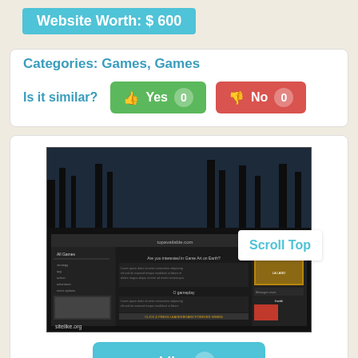Website Worth: $ 600
Categories: Games, Games
Is it similar? Yes 0  No 0
[Figure (screenshot): Screenshot of a dark-themed gaming website with navigation menu on left, main content area, and sidebar. Shows 'sitelike.org' watermark at bottom left.]
Like 0
lacrafter.ru